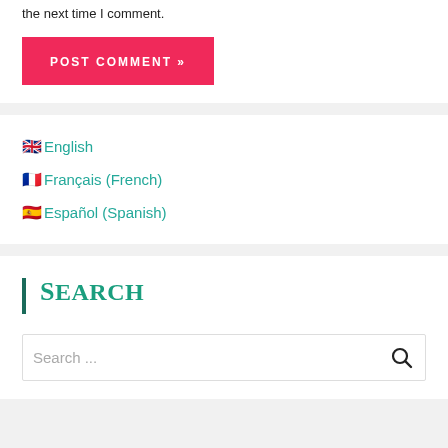the next time I comment.
POST COMMENT »
🇬🇧 English
🇫🇷 Français (French)
🇪🇸 Español (Spanish)
Search
Search ...